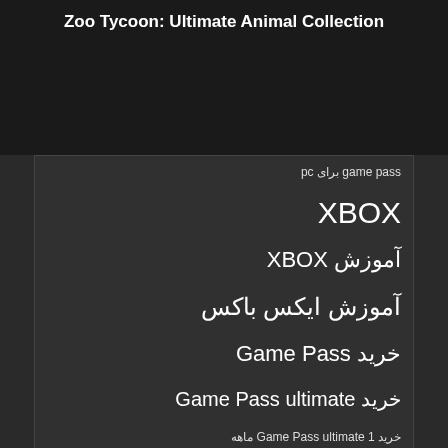Zoo Tycoon: Ultimate Animal Collection
game pass برای pc
XBOX
آموزش XBOX
آموزش ایکس باکس
خرید Game Pass
خرید Game Pass ultimate
خرید Game Pass ultimate 1 ماهه